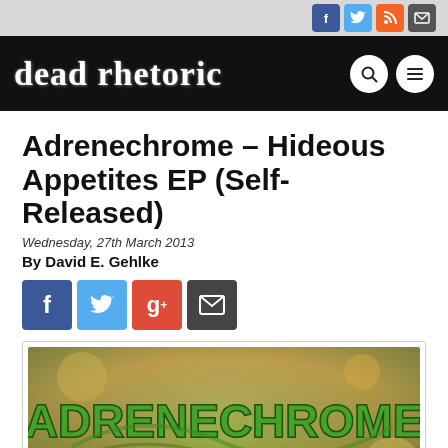dead rhetoric — website header with social icons (Facebook, Twitter, RSS, Email) and navigation buttons (search, menu)
Adrenechrome – Hideous Appetites EP (Self-Released)
Wednesday, 27th March 2013
By David E. Gehlke
[Figure (illustration): Band logo 'ADRENECHROME' in green grunge lettering on a tan/brown background, album cover art]
Share buttons: Facebook, Twitter, Google+, Email